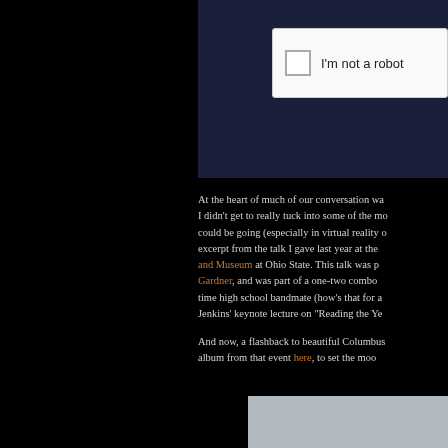[Figure (screenshot): CAPTCHA widget showing 'I'm not a robot' checkbox on a dark navy background]
At the heart of much of our conversation wa... I didn't get to really tuck into some of the mo... could be going (especially in virtual reality o... excerpt from the talk I gave last year at the [Wexner Center for the Arts and Museum] at Ohio State. This talk was p[resented by] [Gardner], and was part of a one-two combo... time high school bandmate (how's that for a... Jenkins' keynote lecture on "Reading the Ye...
And now, a flashback to beautiful Columbus... album from that event [here], to set the moo...
[Figure (photo): Bottom portion of a photograph, partially visible, showing a gray scene]